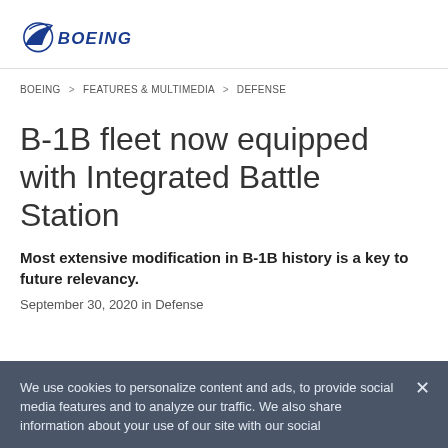[Figure (logo): Boeing company logo with wing swoosh graphic and BOEING text in blue]
BOEING > FEATURES & MULTIMEDIA > DEFENSE
B-1B fleet now equipped with Integrated Battle Station
Most extensive modification in B-1B history is a key to future relevancy.
September 30, 2020 in Defense
We use cookies to personalize content and ads, to provide social media features and to analyze our traffic. We also share information about your use of our site with our social